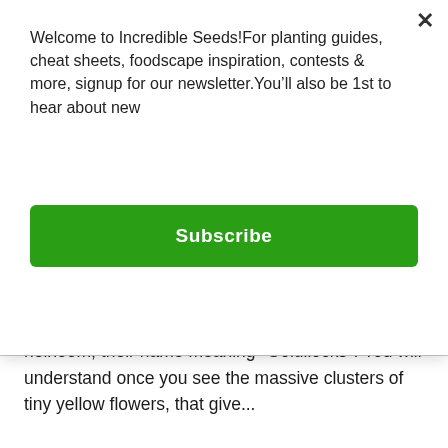Welcome to Incredible Seeds!For planting guides, cheat sheets, foodscape inspiration, contests & more, signup for our newsletter.You’ll also be 1st to hear about new
Subscribe
heirloom, their name meaning "Goldilocks". You will understand once you see the massive clusters of tiny yellow flowers, that give...
$2.99
SOLD OUT  1
[Figure (photo): Red tomatoes in a cluster, close-up photo]